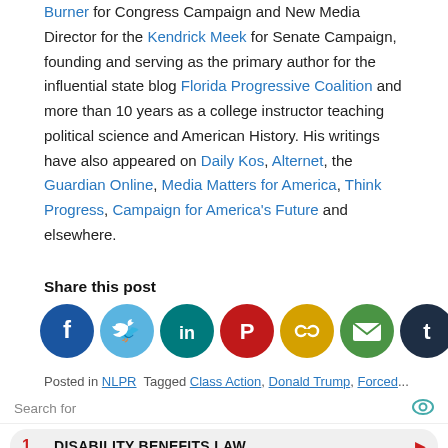Burner for Congress Campaign and New Media Director for the Kendrick Meek for Senate Campaign, founding and serving as the primary author for the influential state blog Florida Progressive Coalition and more than 10 years as a college instructor teaching political science and American History. His writings have also appeared on Daily Kos, Alternet, the Guardian Online, Media Matters for America, Think Progress, Campaign for America's Future and elsewhere.
Share this post
[Figure (infographic): Row of social media share icons: Facebook (dark blue), Twitter (light blue), LinkedIn (dark teal), Pinterest (red), Link/copy (yellow-gold), Email (green), Tumblr (dark navy), Share (orange)]
Posted in NLPR  Tagged Class Action, Donald Trump, Forced...
Search for
1  DISABILITY BENEFITS LAW
2  KETO DIET MENU FOR BEGINNERS